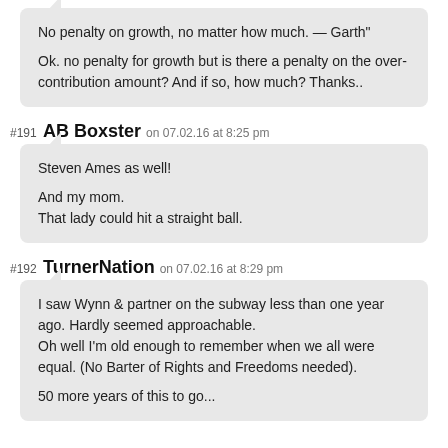No penalty on growth, no matter how much. — Garth"

Ok. no penalty for growth but is there a penalty on the over-contribution amount? And if so, how much? Thanks..
#191 AB Boxster on 07.02.16 at 8:25 pm
Steven Ames as well!

And my mom.
That lady could hit a straight ball.
#192 TurnerNation on 07.02.16 at 8:29 pm
I saw Wynn & partner on the subway less than one year ago. Hardly seemed approachable.
Oh well I'm old enough to remember when we all were equal. (No Barter of Rights and Freedoms needed).

50 more years of this to go...